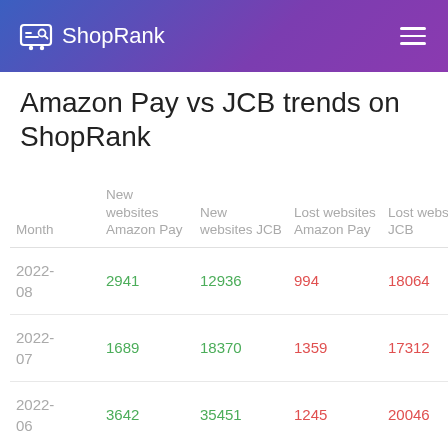ShopRank
Amazon Pay vs JCB trends on ShopRank
| Month | New websites Amazon Pay | New websites JCB | Lost websites Amazon Pay | Lost websites JCB |
| --- | --- | --- | --- | --- |
| 2022-08 | 2941 | 12936 | 994 | 18064 |
| 2022-07 | 1689 | 18370 | 1359 | 17312 |
| 2022-06 | 3642 | 35451 | 1245 | 20046 |
| 2022- | 4042 | 37615 | 040 | 13810 |